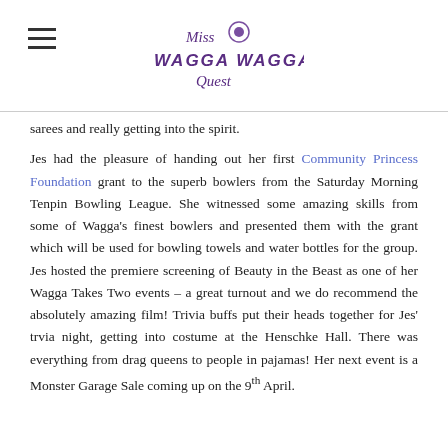Miss Wagga Wagga Quest
sarees and really getting into the spirit.
Jes had the pleasure of handing out her first Community Princess Foundation grant to the superb bowlers from the Saturday Morning Tenpin Bowling League. She witnessed some amazing skills from some of Wagga's finest bowlers and presented them with the grant which will be used for bowling towels and water bottles for the group. Jes hosted the premiere screening of Beauty in the Beast as one of her Wagga Takes Two events – a great turnout and we do recommend the absolutely amazing film! Trivia buffs put their heads together for Jes' trvia night, getting into costume at the Henschke Hall. There was everything from drag queens to people in pajamas! Her next event is a Monster Garage Sale coming up on the 9th April.